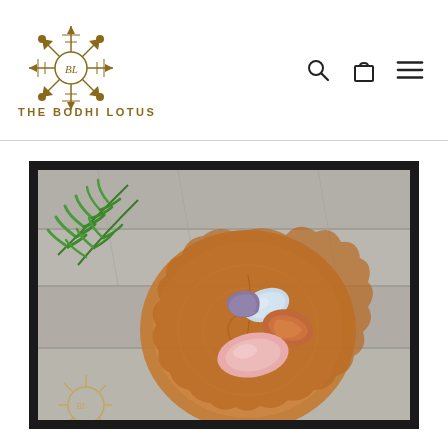[Figure (logo): The Bodhi Lotus logo — a golden snowflake/mandala design with 'BL' in the center circle, and 'THE BODHI LOTUS' text beneath]
[Figure (photo): Product photo of tumbled crystals/gemstones (including rose quartz, blue lace agate, and other stones) arranged on a round wood slice with green fern leaves, placed on a rustic wood surface. A partial gold Bodhi Lotus logo watermark is visible in the bottom left corner.]